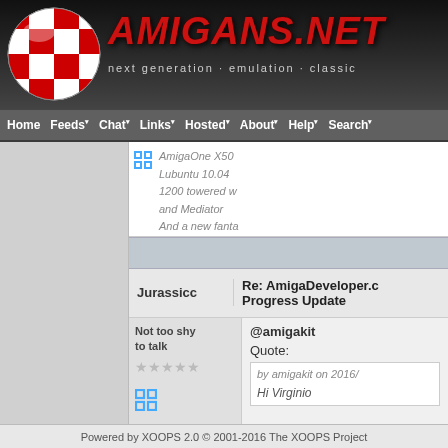[Figure (logo): Amigans.net website header with red/white checkered ball logo and AMIGANS.NET title in red italic text, subtitle: next generation · emulation · classic]
Home  Feeds  Chat  Links  Hosted  About  Help  Search
AmigaOne X50
Lubuntu 10.04
1200 towered w
and Mediator
And a new fanta
Jurassicc
Re: AmigaDeveloper.c
Progress Update
Not too shy to talk
@amigakit
Quote:
by amigakit on 2016/
Hi Virginio
Powered by XOOPS 2.0 © 2001-2016 The XOOPS Project